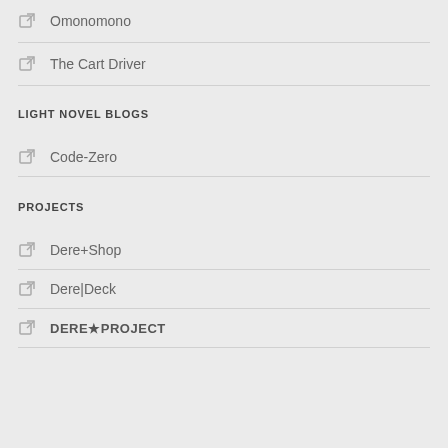Omonomono
The Cart Driver
LIGHT NOVEL BLOGS
Code-Zero
PROJECTS
Dere+Shop
Dere|Deck
DERE★PROJECT